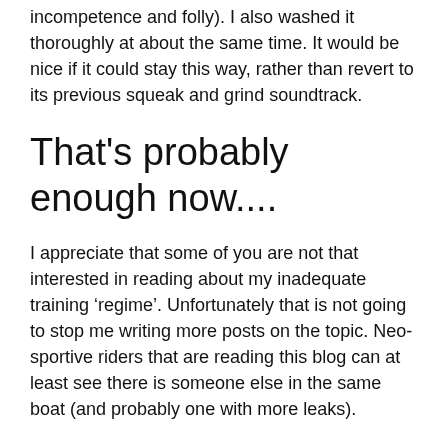incompetence and folly). I also washed it thoroughly at about the same time. It would be nice if it could stay this way, rather than revert to its previous squeak and grind soundtrack.
That's probably enough now....
I appreciate that some of you are not that interested in reading about my inadequate training ‘regime’. Unfortunately that is not going to stop me writing more posts on the topic. Neo-sportive riders that are reading this blog can at least see there is someone else in the same boat (and probably one with more leaks).